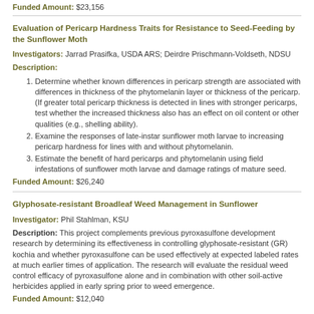Funded Amount: $23,156
Evaluation of Pericarp Hardness Traits for Resistance to Seed-Feeding by the Sunflower Moth
Investigators: Jarrad Prasifka, USDA ARS; Deirdre Prischmann-Voldseth, NDSU
Description:
Determine whether known differences in pericarp strength are associated with differences in thickness of the phytomelanin layer or thickness of the pericarp. (If greater total pericarp thickness is detected in lines with stronger pericarps, test whether the increased thickness also has an effect on oil content or other qualities (e.g., shelling ability).
Examine the responses of late-instar sunflower moth larvae to increasing pericarp hardness for lines with and without phytomelanin.
Estimate the benefit of hard pericarps and phytomelanin using field infestations of sunflower moth larvae and damage ratings of mature seed.
Funded Amount: $26,240
Glyphosate-resistant Broadleaf Weed Management in Sunflower
Investigator: Phil Stahlman, KSU
Description: This project complements previous pyroxasulfone development research by determining its effectiveness in controlling glyphosate-resistant (GR) kochia and whether pyroxasulfone can be used effectively at expected labeled rates at much earlier times of application. The research will evaluate the residual weed control efficacy of pyroxasulfone alone and in combination with other soil-active herbicides applied in early spring prior to weed emergence.
Funded Amount: $12,040